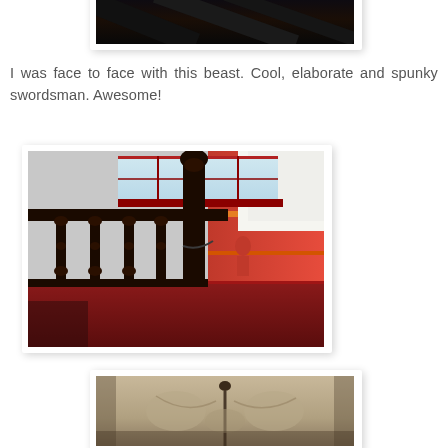[Figure (photo): Partial view of a dark overhead image, cut off at top of page]
I was face to face with this beast. Cool, elaborate and spunky swordsman. Awesome!
[Figure (photo): Victorian-style dark wooden staircase banister with ornate spindles, red carpet, and warm wooden wall paneling in the background]
[Figure (photo): Partial view of an ornate cushioned furniture piece, cut off at bottom of page]